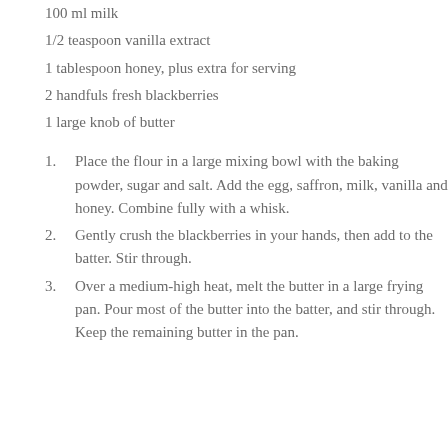100 ml milk
1/2 teaspoon vanilla extract
1 tablespoon honey, plus extra for serving
2 handfuls fresh blackberries
1 large knob of butter
1. Place the flour in a large mixing bowl with the baking powder, sugar and salt. Add the egg, saffron, milk, vanilla and honey. Combine fully with a whisk.
2. Gently crush the blackberries in your hands, then add to the batter. Stir through.
3. Over a medium-high heat, melt the butter in a large frying pan. Pour most of the butter into the batter, and stir through. Keep the remaining butter in the pan.